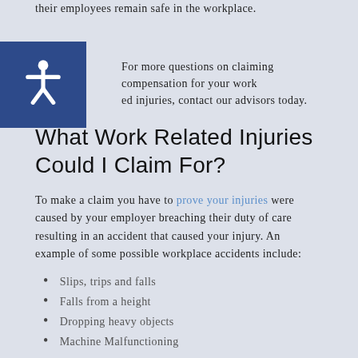their employees remain safe in the workplace.
For more questions on claiming compensation for your work related injuries, contact our advisors today.
What Work Related Injuries Could I Claim For?
To make a claim you have to prove your injuries were caused by your employer breaching their duty of care resulting in an accident that caused your injury. An example of some possible workplace accidents include:
Slips, trips and falls
Falls from a height
Dropping heavy objects
Machine Malfunctioning
To establish liability you must be able to prove that they were negligent of health and safety regulations and contributed to your injury. Health and safety laws establish the practicable